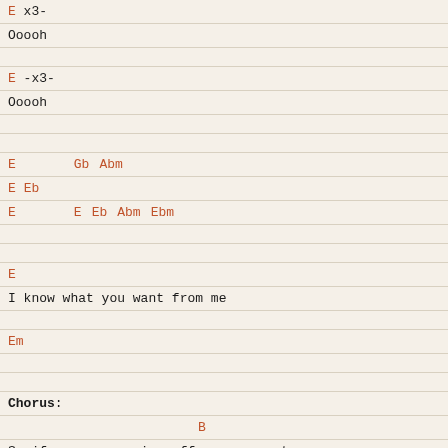E        x3-
Ooooh
E        -x3-
Ooooh
E         Gb  Abm
E  Eb
E          E  Eb  Abm  Ebm
E
I know what you want from me
Em
Chorus:
B
So if you wanna piss off your parents,
Gb
Date me to scare them
Abm                          E